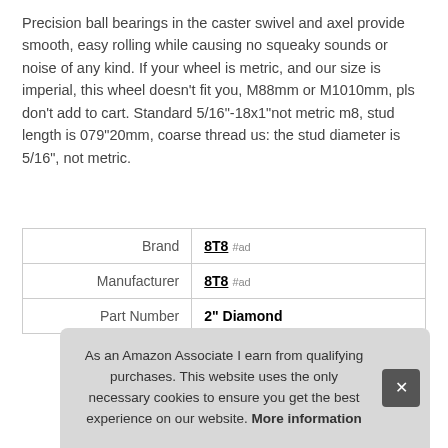Precision ball bearings in the caster swivel and axel provide smooth, easy rolling while causing no squeaky sounds or noise of any kind. If your wheel is metric, and our size is imperial, this wheel doesn't fit you, M88mm or M1010mm, pls don't add to cart. Standard 5/16"-18x1"not metric m8, stud length is 079"20mm, coarse thread us: the stud diameter is 5/16", not metric.
| Brand | 8T8 #ad |
| Manufacturer | 8T8 #ad |
| Part Number | 2" Diamond |
As an Amazon Associate I earn from qualifying purchases. This website uses the only necessary cookies to ensure you get the best experience on our website. More information